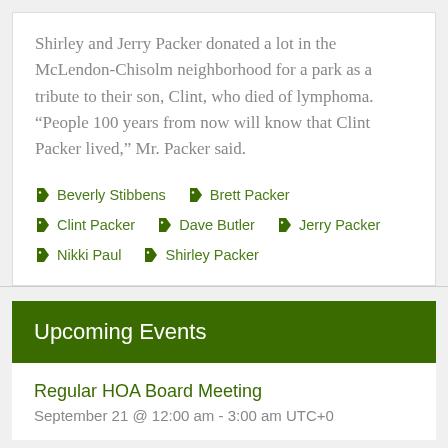Shirley and Jerry Packer donated a lot in the McLendon-Chisolm neighborhood for a park as a tribute to their son, Clint, who died of lymphoma. “People 100 years from now will know that Clint Packer lived,” Mr. Packer said.
Beverly Stibbens
Brett Packer
Clint Packer
Dave Butler
Jerry Packer
Nikki Paul
Shirley Packer
Upcoming Events
Regular HOA Board Meeting
September 21 @ 12:00 am - 3:00 am UTC+0